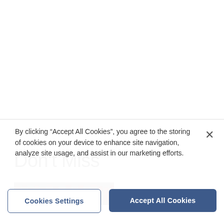Don't Miss
[Figure (photo): Crowd of spectators at a sports event, partially visible image strip]
By clicking “Accept All Cookies”, you agree to the storing of cookies on your device to enhance site navigation, analyze site usage, and assist in our marketing efforts.
Cookies Settings
Accept All Cookies